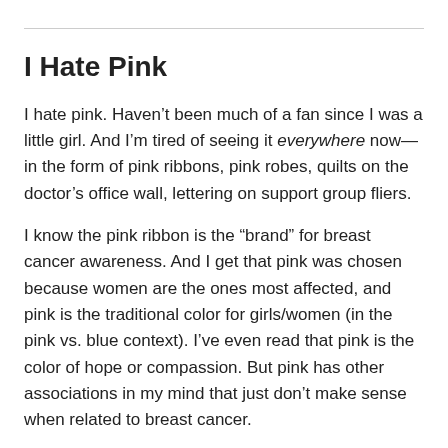I Hate Pink
I hate pink. Haven’t been much of a fan since I was a little girl. And I’m tired of seeing it everywhere now—in the form of pink ribbons, pink robes, quilts on the doctor’s office wall, lettering on support group fliers.
I know the pink ribbon is the “brand” for breast cancer awareness. And I get that pink was chosen because women are the ones most affected, and pink is the traditional color for girls/women (in the pink vs. blue context). I’ve even read that pink is the color of hope or compassion. But pink has other associations in my mind that just don’t make sense when related to breast cancer.